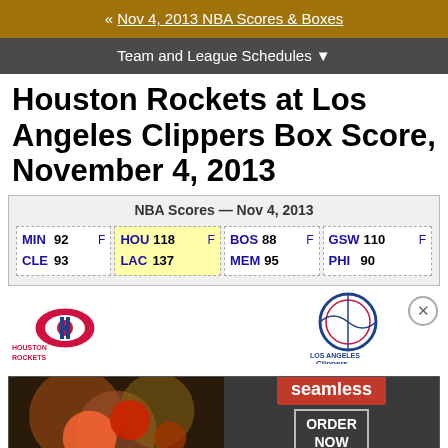« Nov 4, 2013 NBA Scores & Boxes
Team and League Schedules ▼
Houston Rockets at Los Angeles Clippers Box Score, November 4, 2013
| Team | Score | F |
| --- | --- | --- |
| MIN | 92 | F |
| CLE | 93 |  |
| HOU | 118 | F |
| LAC | 137 |  |
| BOS | 88 | F |
| MEM | 95 |  |
| GSW | 110 | F |
| PHI | 90 |  |
[Figure (logo): Houston Rockets logo]
[Figure (logo): Los Angeles Clippers logo]
[Figure (photo): Seamless food delivery advertisement - ORDER NOW]
3-1
3-1